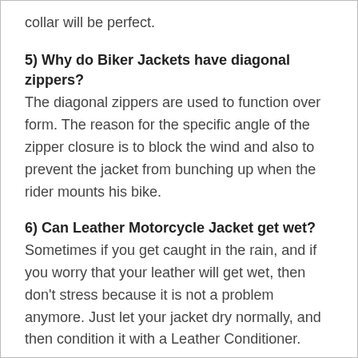collar will be perfect.
5) Why do Biker Jackets have diagonal zippers?
The diagonal zippers are used to function over form. The reason for the specific angle of the zipper closure is to block the wind and also to prevent the jacket from bunching up when the rider mounts his bike.
6) Can Leather Motorcycle Jacket get wet?
Sometimes if you get caught in the rain, and if you worry that your leather will get wet, then don't stress because it is not a problem anymore. Just let your jacket dry normally, and then condition it with a Leather Conditioner.
7) Can you wear a Leather Biker Jacket in the rain?
The short answer to this is YES, you can wear a Biker Jacket even if it is raining outside, but what you need to do as a precaution is to apply a leather lotion which is resistant to weather.